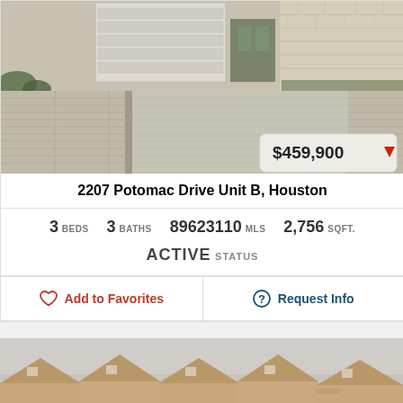[Figure (photo): Exterior photo of a modern townhouse showing a paved brick driveway, garage door, and brick wall facade. Price badge shows $459,900 with a red downward arrow.]
2207 Potomac Drive Unit B, Houston
3 BEDS  3 BATHS  89623110 MLS  2,756 SQFT.
ACTIVE STATUS
Add to Favorites
Request Info
[Figure (photo): Exterior photo showing rooftops of beige/tan colored townhouse units against a gray sky.]